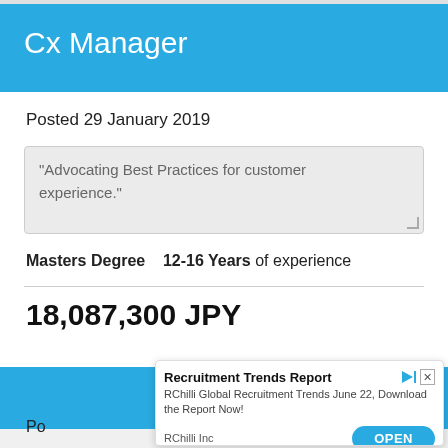Cx Manager
Posted 29 January 2019
"Advocating Best Practices for customer experience."
Masters Degree    12-16 Years of experience
18,087,300 JPY
Co
Po
Recruitment Trends Report
RChilli Global Recruitment Trends June 22, Download the Report Now!
RChilli Inc
OPEN